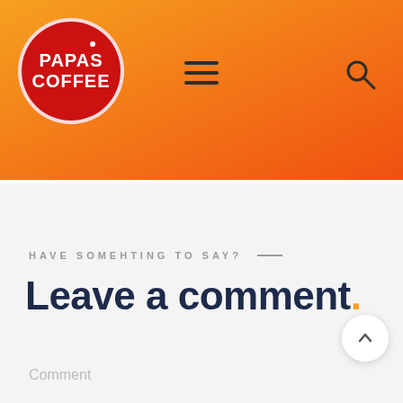[Figure (logo): Papas Coffee logo: red circle with white border and white text 'PAPAS COFFEE' on an orange-to-red gradient header background, with hamburger menu icon and search icon]
HAVE SOMEHTING TO SAY? —
Leave a comment.
Comment